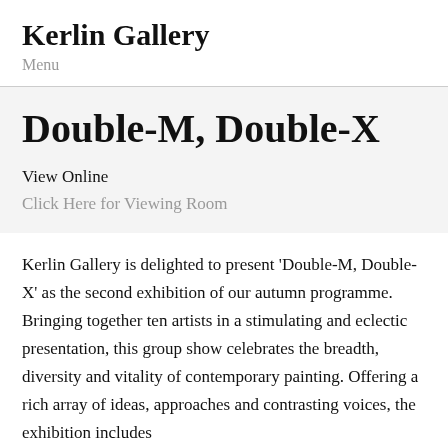Kerlin Gallery
Menu
Double-M, Double-X
View Online
Click Here for Viewing Room
Kerlin Gallery is delighted to present 'Double-M, Double-X' as the second exhibition of our autumn programme. Bringing together ten artists in a stimulating and eclectic presentation, this group show celebrates the breadth, diversity and vitality of contemporary painting. Offering a rich array of ideas, approaches and contrasting voices, the exhibition includes